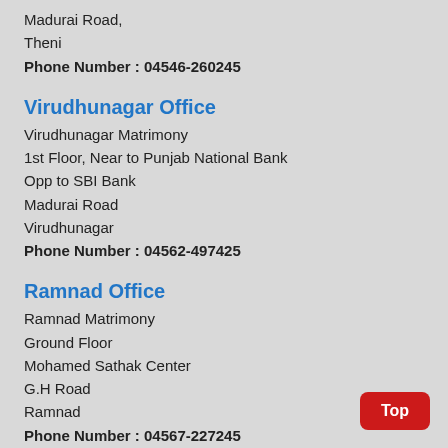Madurai Road,
Theni
Phone Number : 04546-260245
Virudhunagar Office
Virudhunagar Matrimony
1st Floor, Near to Punjab National Bank
Opp to SBI Bank
Madurai Road
Virudhunagar
Phone Number : 04562-497425
Ramnad Office
Ramnad Matrimony
Ground Floor
Mohamed Sathak Center
G.H Road
Ramnad
Phone Number : 04567-227245
Salem Office